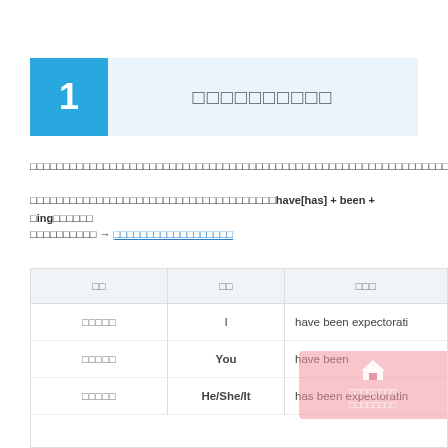1  □□□□□□□□□□
□□□□□□□□□□□□□□□□□□□□□□□□□□□□□□□□□□□□□□□□□□□□□□□□□□□□□□□□□□□□□□□□□□□
□□□□□□□□□□□□□□□□□□□□□□□□□□□□□□□□□□□□□have[has] + been + □ing□□□□□□
□□□□□□□□□□ → □□□□□□□□□□□□□□□□□□
| □□ | □□ | □□□ |
| --- | --- | --- |
| □□□□□ | I | have been expectorati |
| □□□□□ | You | have been |
| □□□□□ | He/She/It | has been expectoratin |